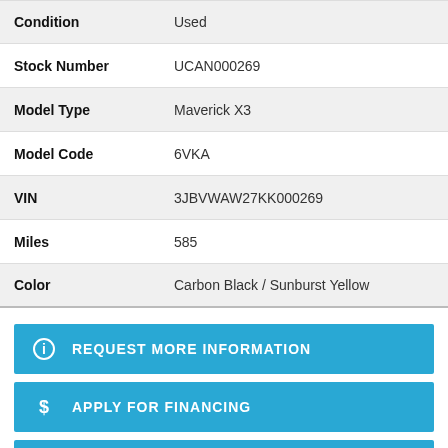| Field | Value |
| --- | --- |
| Condition | Used |
| Stock Number | UCAN000269 |
| Model Type | Maverick X3 |
| Model Code | 6VKA |
| VIN | 3JBVWAW27KK000269 |
| Miles | 585 |
| Color | Carbon Black / Sunburst Yellow |
REQUEST MORE INFORMATION
APPLY FOR FINANCING
CALCULATE PAYMENT